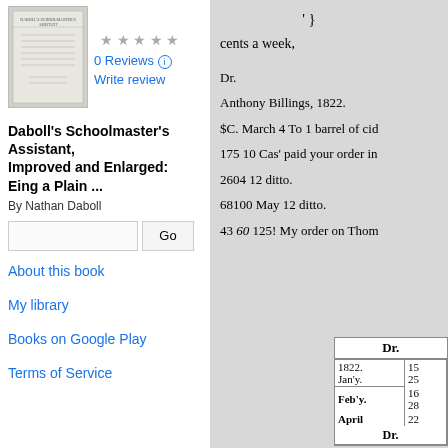[Figure (photo): Thumbnail of book cover for Daboll's Schoolmaster's Assistant]
0 Reviews
Write review
Daboll's Schoolmaster's Assistant, Improved and Enlarged: Eing a Plain ...
By Nathan Daboll
About this book
My library
Books on Google Play
Terms of Service
'}
cents a week,
Dr.
Anthony Billings, 1822.
$C. March 4 To 1 barrel of cid
175 10 Cas' paid your order in
2604 12 ditto.
68100 May 12 ditto.
43 60 125! My order on Thom
| Dr. |  |
| --- | --- |
| 1822. |  |
| Jan'y. | 15 |
|  | 25 |
| Feb'y. | 16 |
|  | 28 |
| April | 22 |